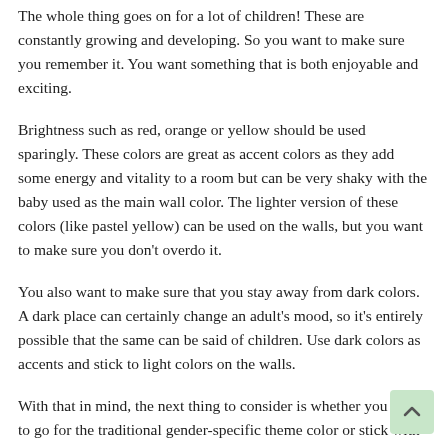The whole thing goes on for a lot of children! These are constantly growing and developing. So you want to make sure you remember it. You want something that is both enjoyable and exciting.
Brightness such as red, orange or yellow should be used sparingly. These colors are great as accent colors as they add some energy and vitality to a room but can be very shaky with the baby used as the main wall color. The lighter version of these colors (like pastel yellow) can be used on the walls, but you want to make sure you don't overdo it.
You also want to make sure that you stay away from dark colors. A dark place can certainly change an adult's mood, so it's entirely possible that the same can be said of children. Use dark colors as accents and stick to light colors on the walls.
With that in mind, the next thing to consider is whether you want to go for the traditional gender-specific theme color or stick with something more neutral.
The color of girls